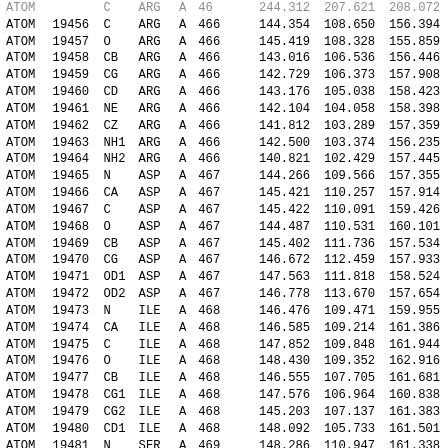| Record | Serial | Atom | Res | Ch | Seq |  | X | Y | Z |
| --- | --- | --- | --- | --- | --- | --- | --- | --- | --- |
| ATOM | 19456 | C | ARG | A | 466 |  | 144.354 | 108.650 | 156.394 |
| ATOM | 19457 | O | ARG | A | 466 |  | 145.419 | 108.328 | 155.859 |
| ATOM | 19458 | CB | ARG | A | 466 |  | 143.016 | 106.536 | 156.446 |
| ATOM | 19459 | CG | ARG | A | 466 |  | 142.729 | 106.373 | 157.908 |
| ATOM | 19460 | CD | ARG | A | 466 |  | 143.176 | 105.038 | 158.423 |
| ATOM | 19461 | NE | ARG | A | 466 |  | 142.104 | 104.058 | 158.398 |
| ATOM | 19462 | CZ | ARG | A | 466 |  | 141.812 | 103.289 | 157.359 |
| ATOM | 19463 | NH1 | ARG | A | 466 |  | 142.500 | 103.374 | 156.235 |
| ATOM | 19464 | NH2 | ARG | A | 466 |  | 140.821 | 102.429 | 157.445 |
| ATOM | 19465 | N | ASP | A | 467 |  | 144.266 | 109.566 | 157.355 |
| ATOM | 19466 | CA | ASP | A | 467 |  | 145.421 | 110.257 | 157.914 |
| ATOM | 19467 | C | ASP | A | 467 |  | 145.422 | 110.091 | 159.426 |
| ATOM | 19468 | O | ASP | A | 467 |  | 144.487 | 110.531 | 160.101 |
| ATOM | 19469 | CB | ASP | A | 467 |  | 145.402 | 111.736 | 157.534 |
| ATOM | 19470 | CG | ASP | A | 467 |  | 146.672 | 112.459 | 157.933 |
| ATOM | 19471 | OD1 | ASP | A | 467 |  | 147.563 | 111.818 | 158.524 |
| ATOM | 19472 | OD2 | ASP | A | 467 |  | 146.778 | 113.670 | 157.654 |
| ATOM | 19473 | N | ILE | A | 468 |  | 146.476 | 109.471 | 159.955 |
| ATOM | 19474 | CA | ILE | A | 468 |  | 146.585 | 109.214 | 161.386 |
| ATOM | 19475 | C | ILE | A | 468 |  | 147.852 | 109.848 | 161.944 |
| ATOM | 19476 | O | ILE | A | 468 |  | 148.430 | 109.352 | 162.916 |
| ATOM | 19477 | CB | ILE | A | 468 |  | 146.555 | 107.705 | 161.681 |
| ATOM | 19478 | CG1 | ILE | A | 468 |  | 147.576 | 106.964 | 160.838 |
| ATOM | 19479 | CG2 | ILE | A | 468 |  | 145.203 | 107.137 | 161.383 |
| ATOM | 19480 | CD1 | ILE | A | 468 |  | 148.092 | 105.733 | 161.501 |
| ATOM | 19481 | N | SER | A | 469 |  | 148.286 | 110.947 | 161.338 |
| ATOM | 19482 | CA | SER | A | 469 |  | 149.505 | 111.619 | 161.757 |
| ATOM | 19483 | C | SER | A | 469 |  | 149.250 | 112.516 | 162.960 |
| ATOM | 19484 | O | SER | A | 469 |  | 148.173 | 113.099 | 163.105 |
| ATOM | 19485 | CB | SER | A | 469 |  | 150.073 | 112.448 | 160.607 |